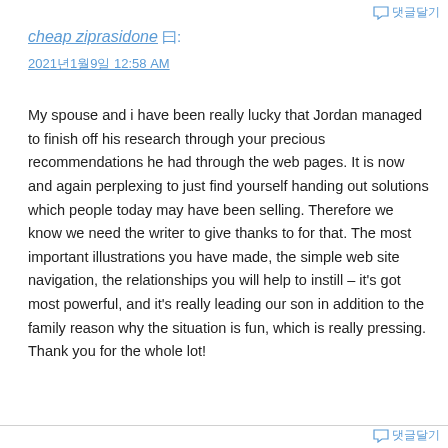💬 댓글달기
cheap ziprasidone 曰:
2021년1월9일 12:58 AM
My spouse and i have been really lucky that Jordan managed to finish off his research through your precious recommendations he had through the web pages. It is now and again perplexing to just find yourself handing out solutions which people today may have been selling. Therefore we know we need the writer to give thanks to for that. The most important illustrations you have made, the simple web site navigation, the relationships you will help to instill – it's got most powerful, and it's really leading our son in addition to the family reason why the situation is fun, which is really pressing. Thank you for the whole lot!
💬 댓글달기